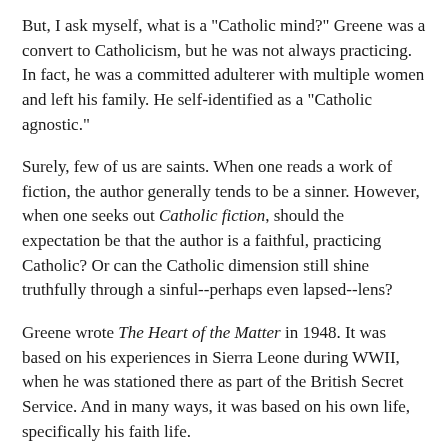But, I ask myself, what is a "Catholic mind?" Greene was a convert to Catholicism, but he was not always practicing. In fact, he was a committed adulterer with multiple women and left his family. He self-identified as a "Catholic agnostic."
Surely, few of us are saints. When one reads a work of fiction, the author generally tends to be a sinner. However, when one seeks out Catholic fiction, should the expectation be that the author is a faithful, practicing Catholic? Or can the Catholic dimension still shine truthfully through a sinful--perhaps even lapsed--lens?
Greene wrote The Heart of the Matter in 1948. It was based on his experiences in Sierra Leone during WWII, when he was stationed there as part of the British Secret Service. And in many ways, it was based on his own life, specifically his faith life.